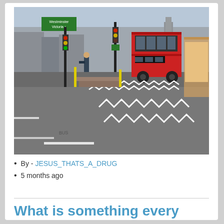[Figure (photo): Street photo of a London road with a red double-decker bus, road markings including zigzag lines, pedestrians, traffic lights, and a green directional sign in the background near what appears to be Westminster.]
By - JESUS_THATS_A_DRUG
5 months ago
What is something every